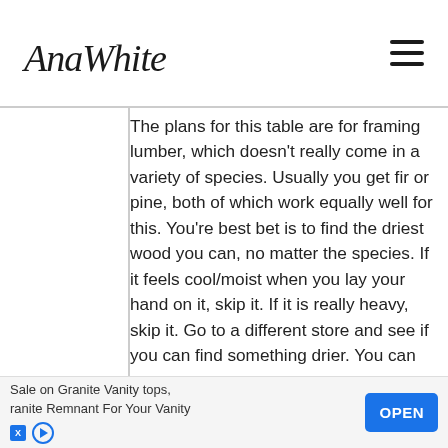AnaWhite
The plans for this table are for framing lumber, which doesn't really come in a variety of species. Usually you get fir or pine, both of which work equally well for this. You're best bet is to find the driest wood you can, no matter the species. If it feels cool/moist when you lay your hand on it, skip it. If it is really heavy, skip it. Go to a different store and see if you can find something drier. You can get other species in 2x lumber at a "real" woodworking store (not Lowe's or HD) but you'll pay probably $7/board foot for the wood (or more), versus under a dollar a foot for framing lumber. Framing lumber takes stain fine, just sand it well and be generous with the wood conditioner. And test on scraps first to get the
Sale on Granite Vanity tops, ranite Remnant For Your Vanity